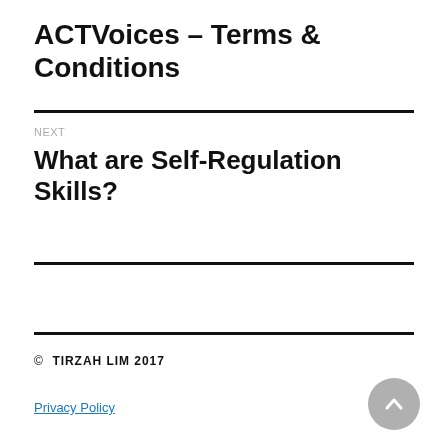ACTVoices – Terms & Conditions
NEXT
What are Self-Regulation Skills?
© TIRZAH LIM 2017
Privacy Policy